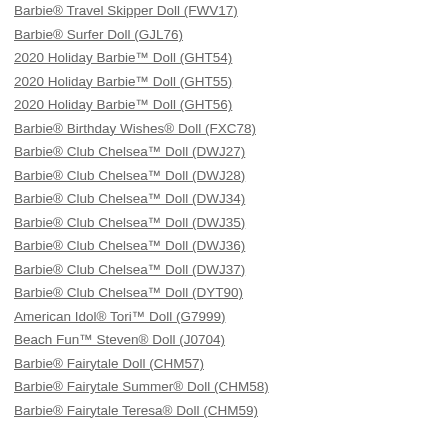Barbie® Travel Skipper Doll (FWV17)
Barbie® Surfer Doll (GJL76)
2020 Holiday Barbie™ Doll (GHT54)
2020 Holiday Barbie™ Doll (GHT55)
2020 Holiday Barbie™ Doll (GHT56)
Barbie® Birthday Wishes® Doll (FXC78)
Barbie® Club Chelsea™ Doll (DWJ27)
Barbie® Club Chelsea™ Doll (DWJ28)
Barbie® Club Chelsea™ Doll (DWJ34)
Barbie® Club Chelsea™ Doll (DWJ35)
Barbie® Club Chelsea™ Doll (DWJ36)
Barbie® Club Chelsea™ Doll (DWJ37)
Barbie® Club Chelsea™ Doll (DYT90)
American Idol® Tori™ Doll (G7999)
Beach Fun™ Steven® Doll (J0704)
Barbie® Fairytale Doll (CHM57)
Barbie® Fairytale Summer® Doll (CHM58)
Barbie® Fairytale Teresa® Doll (CHM59)